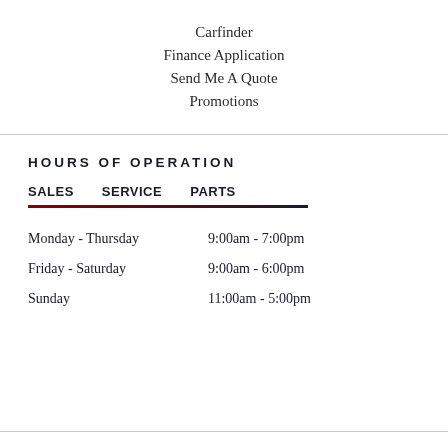Carfinder
Finance Application
Send Me A Quote
Promotions
HOURS OF OPERATION
| SALES | SERVICE | PARTS |
| --- | --- | --- |
| Monday - Thursday | 9:00am - 7:00pm |
| Friday - Saturday | 9:00am - 6:00pm |
| Sunday | 11:00am - 5:00pm |